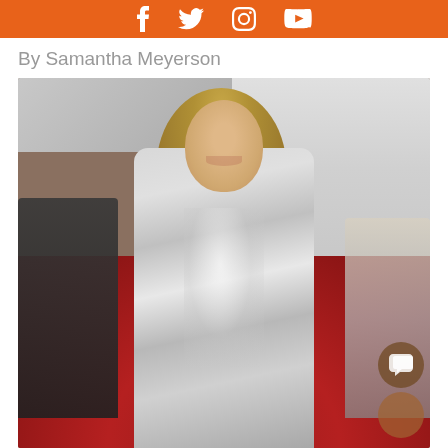Social media icons: Facebook, Twitter, Instagram, YouTube
By Samantha Meyerson
[Figure (photo): Woman with long blonde hair wearing a silver metallic dress standing on a red carpet at an event. Background shows white curtain draping and other attendees in dark and silver outfits.]